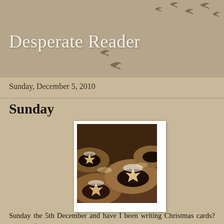Desperate Reader
Sunday, December 5, 2010
Sunday
[Figure (photo): Close-up photograph of mince pies with star-shaped pastry tops, showing golden-brown pastry with dark mincemeat filling visible, displayed in a white photo frame]
Sunday the 5th December and have I been writing Christmas cards? Have I finished my Christmas shopping? Have I had a good and thorough tidy round my flat? Caught up on book reviews and read any of the pile of books clamouring for attention? Finished the Christmas rota for